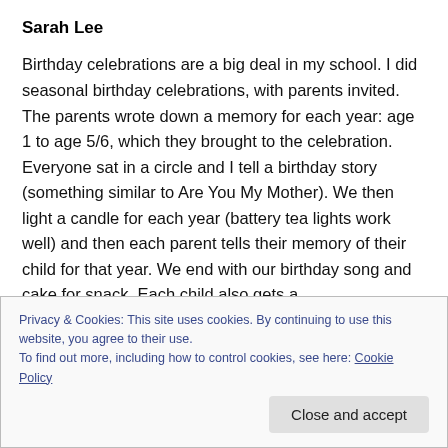Sarah Lee
Birthday celebrations are a big deal in my school. I did seasonal birthday celebrations, with parents invited. The parents wrote down a memory for each year: age 1 to age 5/6, which they brought to the celebration. Everyone sat in a circle and I tell a birthday story (something similar to Are You My Mother). We then light a candle for each year (battery tea lights work well) and then each parent tells their memory of their child for that year. We end with our birthday song and cake for snack. Each child also gets a
Privacy & Cookies: This site uses cookies. By continuing to use this website, you agree to their use.
To find out more, including how to control cookies, see here: Cookie Policy